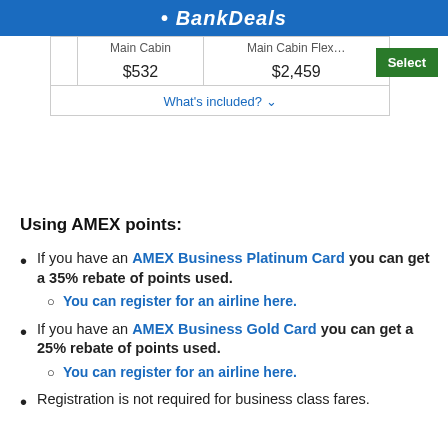BankDeals
|  | Main Cabin | Main Cabin Flex... |
| --- | --- | --- |
|  | $532 | $2,459 |
| What's included? |  |  |
Using AMEX points:
If you have an AMEX Business Platinum Card you can get a 35% rebate of points used.
You can register for an airline here.
If you have an AMEX Business Gold Card you can get a 25% rebate of points used.
You can register for an airline here.
Registration is not required for business class fares.